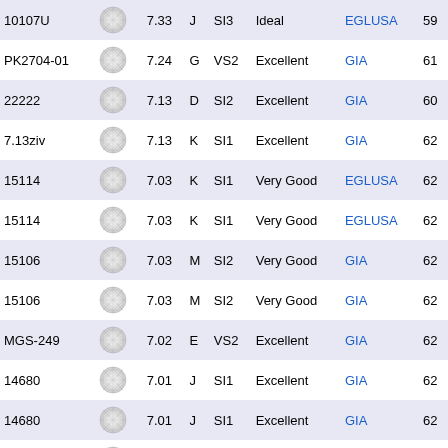| ID | Image | Size | Color | Clarity | Cut | Cert | Depth% |
| --- | --- | --- | --- | --- | --- | --- | --- |
| 10107U |  | 7.33 | J | SI3 | Ideal | EGLUSA | 59 |
| PK2704-01 |  | 7.24 | G | VS2 | Excellent | GIA | 61 |
| 22222 |  | 7.13 | D | SI2 | Excellent | GIA | 60 |
| 7.13ziv |  | 7.13 | K | SI1 | Excellent | GIA | 62 |
| 15114 |  | 7.03 | K | SI1 | Very Good | EGLUSA | 62 |
| 15114 |  | 7.03 | K | SI1 | Very Good | EGLUSA | 62 |
| 15106 |  | 7.03 | M | SI2 | Very Good | GIA | 62 |
| 15106 |  | 7.03 | M | SI2 | Very Good | GIA | 62 |
| MGS-249 |  | 7.02 | E | VS2 | Excellent | GIA | 62 |
| 14680 |  | 7.01 | J | SI1 | Excellent | GIA | 62 |
| 14680 |  | 7.01 | J | SI1 | Excellent | GIA | 62 |
| MGS-214 |  | 7.00 | H | VS1 | Excellent | GIA | 60 |
| JSC-1316 |  | 6.59 | J | I1 | Very Good | GIA | 63 |
| 4RD645 |  | 6.45 | M | VS2 | Excellent | GIA | 62 |
| PK2997-01 |  | 6.42 | M | SI2 | Excellent | GIA | 61 |
| 9777U |  | 6.39 | L | VS2 |  | EGLUSA | 60 |